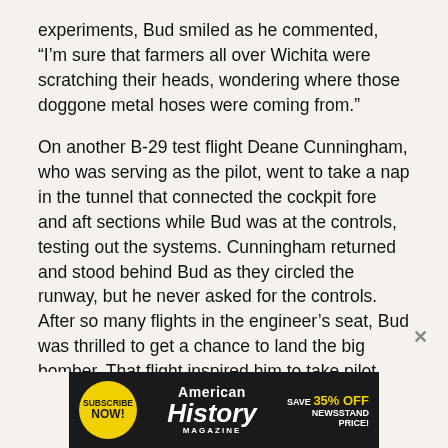experiments, Bud smiled as he commented, “I’m sure that farmers all over Wichita were scratching their heads, wondering where those doggone metal hoses were coming from.”
On another B-29 test flight Deane Cunningham, who was serving as the pilot, went to take a nap in the tunnel that connected the cockpit fore and aft sections while Bud was at the controls, testing out the systems. Cunningham returned and stood behind Bud as they circled the runway, but he never asked for the controls. After so many flights in the engineer’s seat, Bud was thrilled to get a chance to land the big bomber. That flight inspired him to take pilot training, and within months he had obtained his private pilot’s license.
[Figure (other): American History Magazine advertisement banner with yellow subscribe button, magazine title, and '35% off newsstand price' offer]